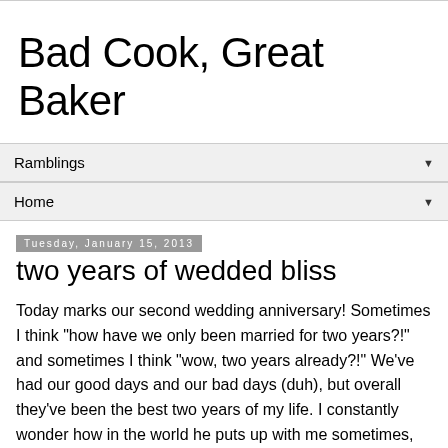Bad Cook, Great Baker
Ramblings
Home
Tuesday, January 15, 2013
two years of wedded bliss
Today marks our second wedding anniversary! Sometimes I think "how have we only been married for two years?!" and sometimes I think "wow, two years already?!" We've had our good days and our bad days (duh), but overall they've been the best two years of my life. I constantly wonder how in the world he puts up with me sometimes, but I'm sure he thinks the same thing...right? :)